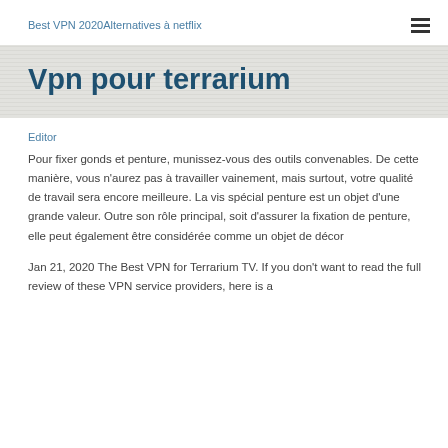Best VPN 2020Alternatives à netflix
Vpn pour terrarium
Editor
Pour fixer gonds et penture, munissez-vous des outils convenables. De cette manière, vous n'aurez pas à travailler vainement, mais surtout, votre qualité de travail sera encore meilleure. La vis spécial penture est un objet d'une grande valeur. Outre son rôle principal, soit d'assurer la fixation de penture, elle peut également être considérée comme un objet de décor
Jan 21, 2020 The Best VPN for Terrarium TV. If you don't want to read the full review of these VPN service providers, here is a